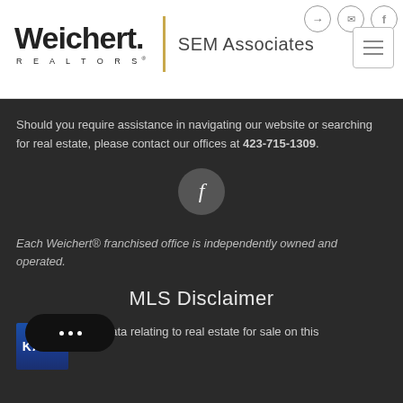Weichert REALTORS | SEM Associates
Should you require assistance in navigating our website or searching for real estate, please contact our offices at 423-715-1309.
[Figure (illustration): Facebook icon in a dark circle]
Each Weichert® franchised office is independently owned and operated.
MLS Disclaimer
The data relating to real estate for sale on this